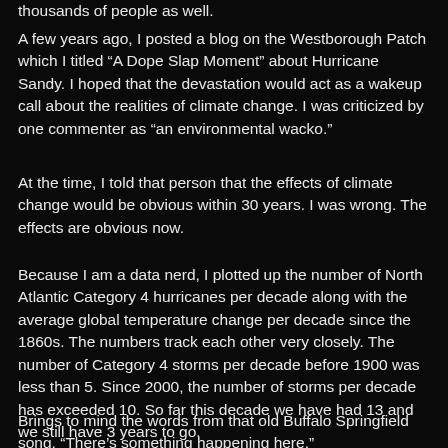thousands of people as well.
A few years ago, I posted a blog on the Westborough Patch which I titled “A Dope Slap Moment” about Hurricane Sandy. I hoped that the devastation would act as a wakeup call about the realities of climate change. I was criticized by one commenter as “an environmental wacko.”
At the time, I told that person that the effects of climate change would be obvious within 30 years. I was wrong. The effects are obvious now.
Because I am a data nerd, I plotted up the number of North Atlantic Category 4 hurricanes per decade along with the average global temperature change per decade since the 1860s. The numbers track each other very closely. The number of Category 4 storms per decade before 1900 was less than 5. Since 2000, the number of storms per decade has exceeded 10. So far this decade we have had 13 and we still have 3 years to go.
Brings to mind the words from that old Buffalo Springfield song, “There’s something happening here.”